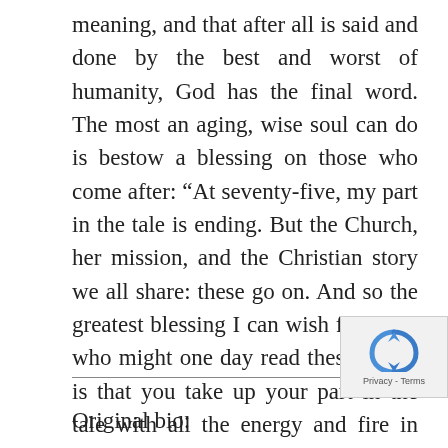meaning, and that after all is said and done by the best and worst of humanity, God has the final word. The most an aging, wise soul can do is bestow a blessing on those who come after: “At seventy-five, my part in the tale is ending. But the Church, her mission, and the Christian story we all share: these go on. And so the greatest blessing I can wish for those who might one day read these words is that you take up your part in the tale with all the energy and fire in your hearts. Because it’s a life worth living.”
Original bio: